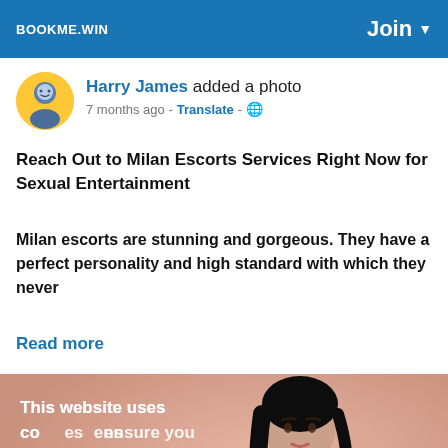BOOKME.WIN   Join ▼
Harry James added a photo
7 months ago - Translate - 🌐
Reach Out to Milan Escorts Services Right Now for Sexual Entertainment
Milan escorts are stunning and gorgeous. They have a perfect personality and high standard with which they never
Read more
[Figure (photo): Woman in black lace outfit against a pink/salmon background, with a semi-transparent cookie consent overlay reading: This website uses cookies to ensure you get the best experience on our website. Learn More]